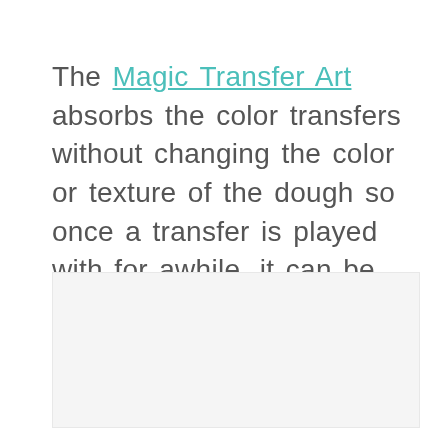The Magic Transfer Art absorbs the color transfers without changing the color or texture of the dough so once a transfer is played with for awhile, it can be reformed into whatever is dreamt up next!
[Figure (photo): Image placeholder area below the text block]